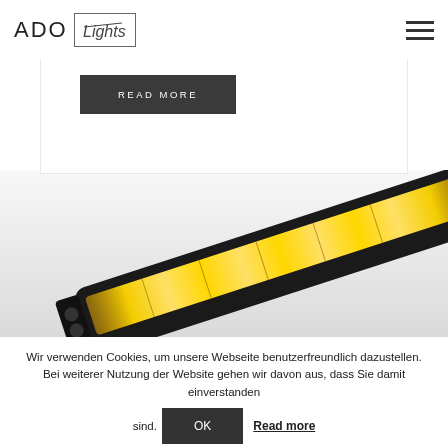ADO Lights
READ MORE
[Figure (photo): Close-up photo of a black LED light bar with warm yellow LEDs illuminated, angled diagonally on a light grey background.]
Wir verwenden Cookies, um unsere Webseite benutzerfreundlich dazustellen. Bei weiterer Nutzung der Website gehen wir davon aus, dass Sie damit einverstanden sind.
OK
Read more